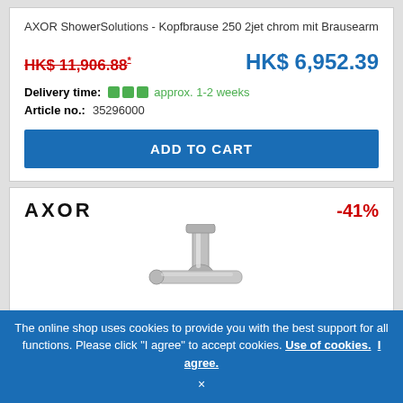AXOR ShowerSolutions - Kopfbrause 250 2jet chrom mit Brausearm
HK$ 11,906.88* (old price, crossed out)  HK$ 6,952.39 (current price)
Delivery time: approx. 1-2 weeks
Article no.: 35296000
ADD TO CART
[Figure (logo): AXOR brand logo text]
-41%
[Figure (photo): Chrome faucet/tap product photo]
The online shop uses cookies to provide you with the best support for all functions. Please click "I agree" to accept cookies. Use of cookies. I agree.